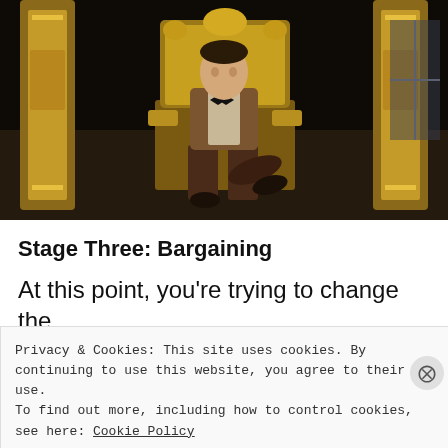[Figure (photo): A person in a brown jacket and bow tie sitting on an ornate gold throne chair against a dark background]
Stage Three: Bargaining
At this point, you're trying to change the
Privacy & Cookies: This site uses cookies. By continuing to use this website, you agree to their use.
To find out more, including how to control cookies, see here: Cookie Policy
Close and accept